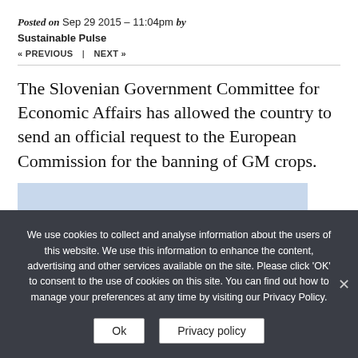Posted on Sep 29 2015 – 11:04pm by Sustainable Pulse
« PREVIOUS   |   NEXT »
The Slovenian Government Committee for Economic Affairs has allowed the country to send an official request to the European Commission for the banning of GM crops.
[Figure (photo): Landscape photograph of green forested mountain ridges with blue hazy mountains receding into the distance under a light blue sky.]
We use cookies to collect and analyse information about the users of this website. We use this information to enhance the content, advertising and other services available on the site. Please click 'OK' to consent to the use of cookies on this site. You can find out how to manage your preferences at any time by visiting our Privacy Policy.